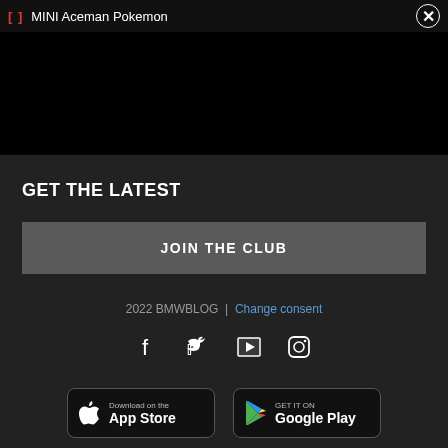[Figure (screenshot): Black video player area with a top bar showing pink/red bracket icon, 'MINI Aceman Pokemon' title, and close button]
GET THE LATEST
JOIN THE CLUB
2022 BMWBLOG | Change consent
[Figure (infographic): Social media icons: Facebook, Twitter, YouTube, Instagram]
[Figure (infographic): App store badges: Download on the App Store and Get it on Google Play]